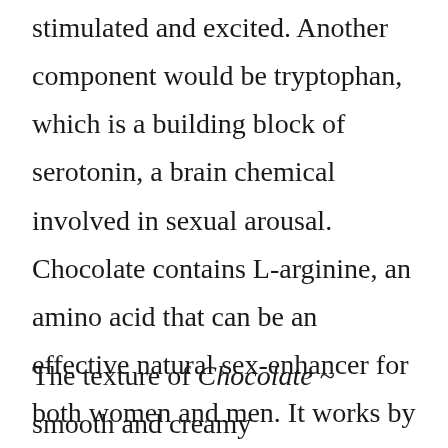stimulated and excited. Another component would be tryptophan, which is a building block of serotonin, a brain chemical involved in sexual arousal. Chocolate contains L-arginine, an amino acid that can be an effective natural sex-enhancer for both women and men. It works by increasing nitric oxide and promoting blood flow to your sexual organs, which increases sensation, satisfaction and desire.
The texture of Chocolate ~ smooth and creamy